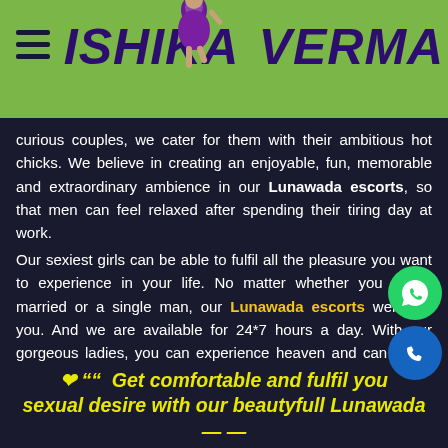ISHIKA VERMA
curious couples, we cater for them with their ambitious hot chicks. We believe in creating an enjoyable, fun, memorable and extraordinary ambience in our Lunawada escorts, so that men can feel relaxed after spending their tiring day at work.
Our sexiest girls can be able to fulfil all the pleasure you want to experience in your life. No matter whether you are a married or a single man, our Lunawada escorts welcome you. And we are available for 24*7 hours a day. With our gorgeous ladies, you can experience heaven and can forget all stress and tensions in your life.
❤ ““  Get comfortable and fulfil your sexual desire with our beautyfull Lunawada